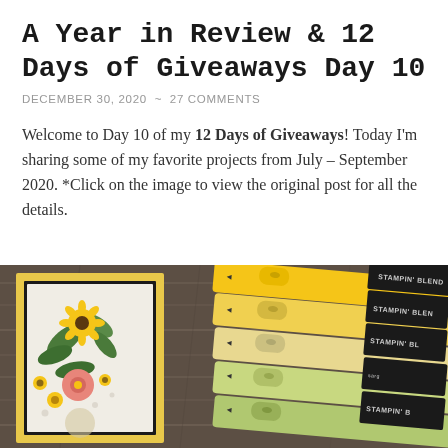A Year in Review & 12 Days of Giveaways Day 10
DECEMBER 30, 2020  ~  27 COMMENTS
Welcome to Day 10 of my 12 Days of Giveaways! Today I'm sharing some of my favorite projects from July – September 2020. *Click on the image to view the original post for all the details.
[Figure (photo): A crafting scene on a dark wood surface showing a yellow-framed greeting card with colorful flowers (sunflowers, pink and white blooms, greenery) and several Stampin' Blends marker pens in yellow and green shades arranged diagonally.]